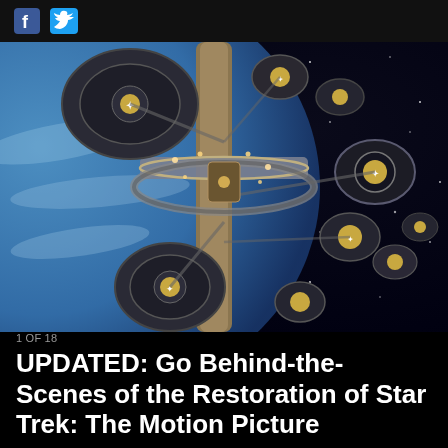f  (Twitter bird icon)
[Figure (photo): Aerial/overhead view of a detailed spaceship model from Star Trek: The Motion Picture, showing circular saucer sections, connecting struts, and mechanical details against a blue planet and black starfield background.]
1 OF 18
UPDATED: Go Behind-the-Scenes of the Restoration of Star Trek: The Motion Picture
Updated with even more scenes from the sound mix!
Earlier this summer, StarTrek.com announced the restoration of the Star Trek: The Motion Picture...